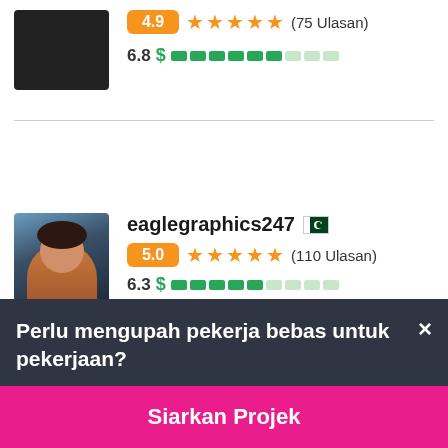[Figure (screenshot): Top partial listing: avatar (dark/cut off), rating badge 4.9, 5 orange stars, (75 Ulasan), price 6.8 with green dollar bar]
[Figure (screenshot): Freelancer listing: eaglegraphics247 with Pakistan flag, avatar photo of woman, rating 5.0, 5 stars, (110 Ulasan), price 6.3 with green dollar bar]
Perlu mengupah pekerja bebas untuk pekerjaan?
Siarkan Projek